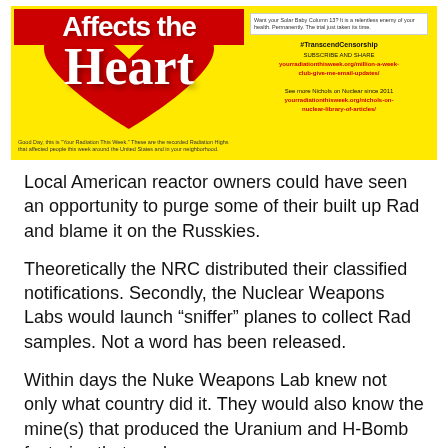[Figure (infographic): Yellow banner with red heart graphic. Top red strip text 'Affects the Heart'. Large white text 'Heart' over red heart shape on left side. Right side has white box with small text, then '#TranscendCensorship SUBSCRIBE AND SHARE' and URLs for yourradiationthisweek.org. Small text at bottom left about 'Your Radiation This Week'.]
Local American reactor owners could have seen an opportunity to purge some of their built up Rad and blame it on the Russkies.
Theoretically the NRC distributed their classified notifications. Secondly, the Nuclear Weapons Labs would launch “sniffer” planes to collect Rad samples. Not a word has been released.
Within days the Nuke Weapons Lab knew not only what country did it. They would also know the mine(s) that produced the Uranium and H-Bomb factories that made